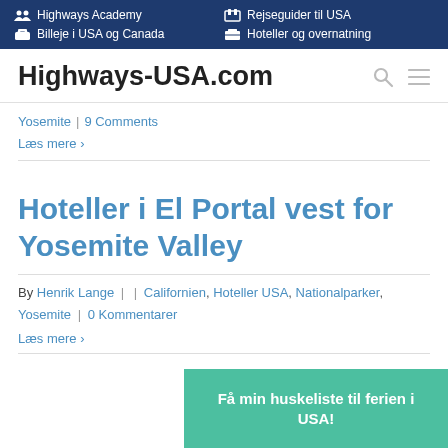Highways Academy | Rejseguider til USA | Billeje i USA og Canada | Hoteller og overnatning
Highways-USA.com
Yosemite | 9 Comments
Læs mere ›
Hoteller i El Portal vest for Yosemite Valley
By Henrik Lange |  | Californien, Hoteller USA, Nationalparker, Yosemite | 0 Kommentarer
Læs mere ›
Få min huskeliste til ferien i USA!